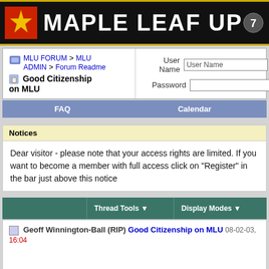[Figure (logo): Maple Leaf Up forum banner with yellow star logo on red/black background and site name in white bold text]
MLU FORUM > MLU ADMIN > Forum Readme
Good Citizenship on MLU
User Name  [User Name input]  [checkbox] Remember Me?
Password  [password input]  [Log in button]
FAQ    Calendar
Notices
Dear visitor - please note that your access rights are limited. If you want to become a member with full access click on "Register" in the bar just above this notice
Thread Tools ▼    Display Modes ▼
Geoff Winnington-Ball (RIP) Good Citizenship on MLU 08-02-03, 16:04